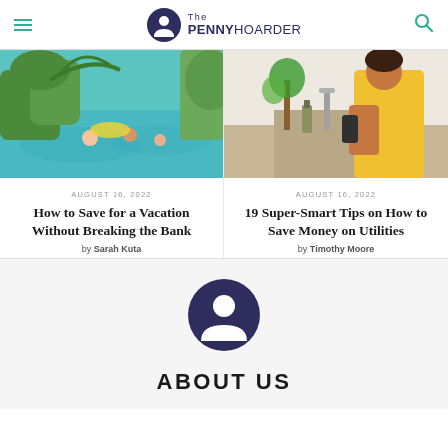The PENNY HOARDER
[Figure (photo): People swimming in a pool at a tropical resort with waterslide]
[Figure (photo): Woman in yellow top using kitchen faucet, looking at phone]
AUGUST 16, 2022
How to Save for a Vacation Without Breaking the Bank
by Sarah Kuta
AUGUST 16, 2022
19 Super-Smart Tips on How to Save Money on Utilities
by Timothy Moore
[Figure (logo): The Penny Hoarder logo circle icon]
ABOUT US